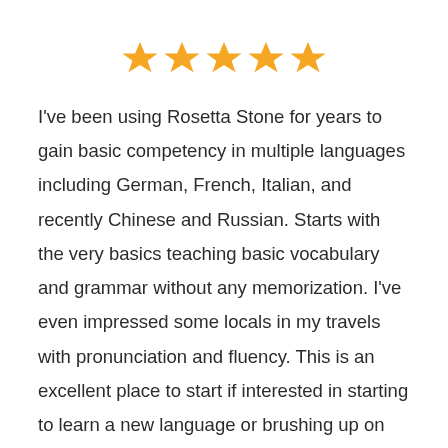[Figure (other): Five gold star rating icons displayed in a row]
I've been using Rosetta Stone for years to gain basic competency in multiple languages including German, French, Italian, and recently Chinese and Russian. Starts with the very basics teaching basic vocabulary and grammar without any memorization. I've even impressed some locals in my travels with pronunciation and fluency. This is an excellent place to start if interested in starting to learn a new language or brushing up on one learned years ago.
-Gladys